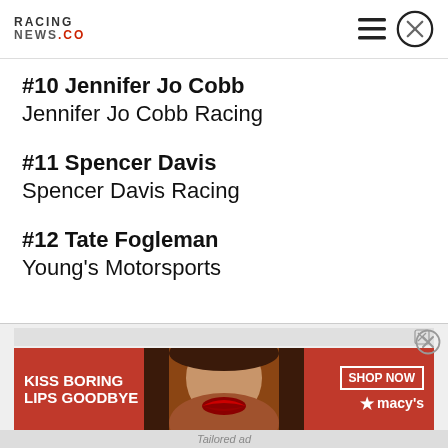RACING NEWS.CO
#10 Jennifer Jo Cobb
Jennifer Jo Cobb Racing
#11 Spencer Davis
Spencer Davis Racing
#12 Tate Fogleman
Young's Motorsports
[Figure (screenshot): Advertisement banner for Macy's lipstick promotion. Red background with text 'KISS BORING LIPS GOODBYE' on left, woman's face with red lips in center, 'SHOP NOW' button and Macy's star logo on right.]